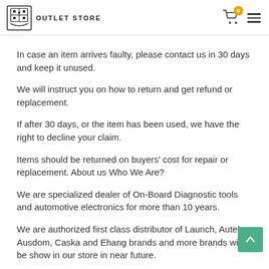OUTLET STORE
In case an item arrives faulty, please contact us in 30 days and keep it unused.
We will instruct you on how to return and get refund or replacement.
If after 30 days, or the item has been used, we have the right to decline your claim.
Items should be returned on buyers' cost for repair or replacement. About us Who We Are?
We are specialized dealer of On-Board Diagnostic tools and automotive electronics for more than 10 years.
We are authorized first class distributor of Launch, Autel, Ausdom, Caska and Ehang brands and more brands will be show in our store in near future.